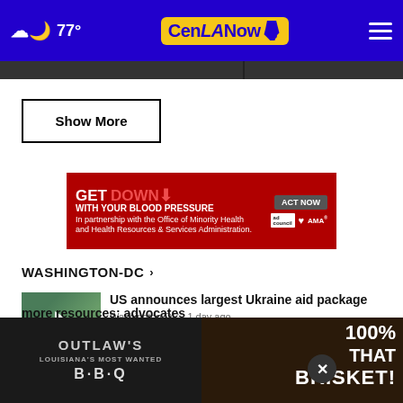77° CenLANow
Show More
[Figure (other): GET DOWN WITH YOUR BLOOD PRESSURE advertisement banner in red with ACT NOW button and ad council, AMA logos]
WASHINGTON-DC ›
US announces largest Ukraine aid package
Washington-DC · 1 day ago
NY, FL primaries a preview for midterms
more resources: advocates
[Figure (other): Outlaw's Louisiana's Most Wanted B·B·Q advertisement on left, and 100% THAT BRISKET! advertisement on right]